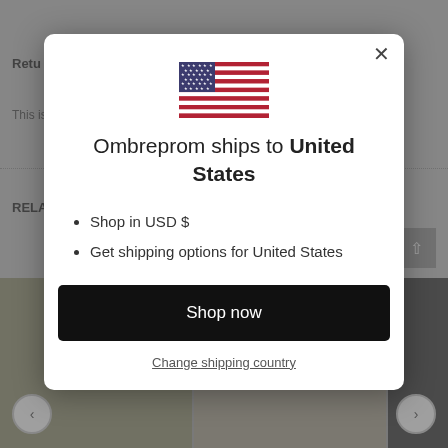Retu
This is
RELA
[Figure (screenshot): Modal dialog overlay on an e-commerce website. Contains a US flag, text 'Ombreprom ships to United States', bullet points listing 'Shop in USD $' and 'Get shipping options for United States', a black 'Shop now' button, and a 'Change shipping country' link. A close (×) button is in the top-right corner.]
Ombreprom ships to United States
Shop in USD $
Get shipping options for United States
Shop now
Change shipping country